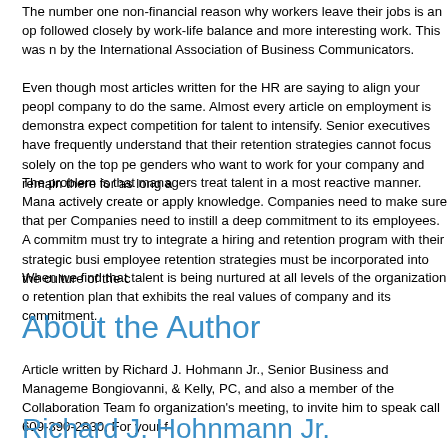The number one non-financial reason why workers leave their jobs is an op followed closely by work-life balance and more interesting work. This was n by the International Association of Business Communicators.
Even though most articles written for the HR are saying to align your peopl company to do the same. Almost every article on employment is demonstra expect competition for talent to intensify. Senior executives have frequently understand that their retention strategies cannot focus solely on the top pe genders who want to work for your company and remain there for as long a
The problem is that managers treat talent in a most reactive manner. Mana actively create or apply knowledge. Companies need to make sure that per Companies need to instill a deep commitment to its employees. A commitm must try to integrate a hiring and retention program with their strategic busi employee retention strategies must be incorporated into the culture of the c
When we find that talent is being nurtured at all levels of the organization o retention plan that exhibits the real values of company and its commitment.
About the Author
Article written by Richard J. Hohmann Jr., Senior Business and Manageme Bongiovanni, & Kelly, PC, and also a member of the Collaboration Team fo organization's meeting, to invite him to speak call 609-390-2830, For your f
Richard J. Hohnmann Jr.